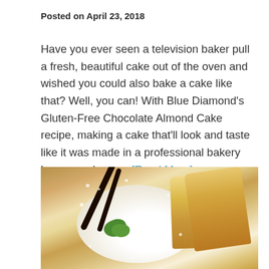Posted on April 23, 2018
Have you ever seen a television baker pull a fresh, beautiful cake out of the oven and wished you could also bake a cake like that? Well, you can! With Blue Diamond's Gluten-Free Chocolate Almond Cake recipe, making a cake that'll look and taste like it was made in a professional bakery has never been… [Read More]
[Figure (photo): Photo of a powdered sugar cake with vanilla bean sticks and green mint garnish, with sliced pieces of golden cake visible on the right side]